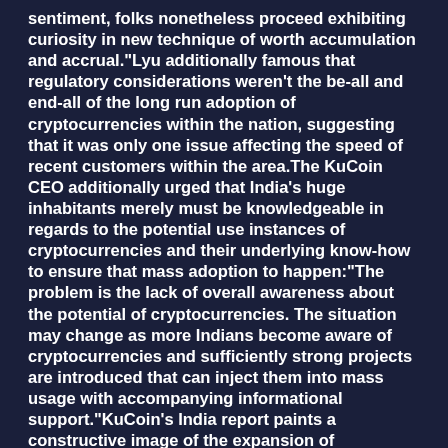sentiment, folks nonetheless proceed exhibiting curiosity in new technique of worth accumulation and accrual."Lyu additionally famous that regulatory considerations weren't the be-all and end-all of the long run adoption of cryptocurrencies within the nation, suggesting that it was only one issue affecting the speed of recent customers within the area.The KuCoin CEO additionally urged that India's huge inhabitants merely must be knowledgeable in regards to the potential use instances of cryptocurrencies and their underlying know-how to ensure that mass adoption to happen:"The problem is the lack of overall awareness about the potential of cryptocurrencies. The situation may change as more Indians become aware of cryptocurrencies and sufficiently strong projects are introduced that can inject them into mass usage with accompanying informational support."KuCoin's India report paints a constructive image of the expansion of cryptocurrency adoption in India, however the obvious disparity of its authorities stance in the direction of the sector continues to be a hindrance. A 30% tax on unrealized